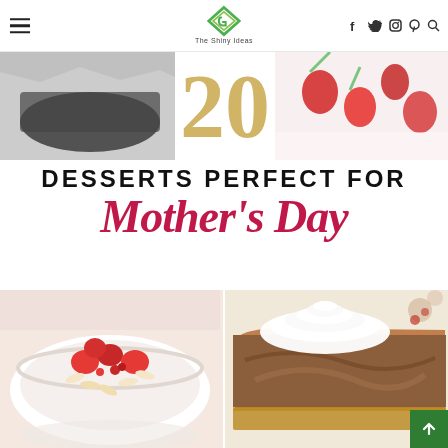The Shiny Ideas — navigation header with hamburger menu, logo, and social icons
[Figure (photo): Collage banner showing baking pan with foil, gold number '20', and strawberries with rhubarb on a white background]
DESSERTS PERFECT FOR Mother's Day
[Figure (photo): Bowl of cream/mousse topped with fresh strawberries and sliced almonds]
[Figure (photo): Slice of chocolate mousse pie with graham cracker crust topped with whipped cream]